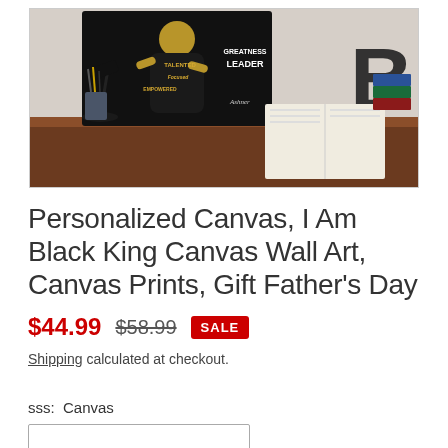[Figure (photo): Product photo of a decorative canvas wall art print showing a Black King figure with motivational words (Talented, Focused, Empowered, Greatness, Leader) displayed on a desk with a lamp, pencil holder, and open notebook in the background.]
Personalized Canvas, I Am Black King Canvas Wall Art, Canvas Prints, Gift Father's Day
$44.99  $58.99  SALE
Shipping calculated at checkout.
sss:  Canvas